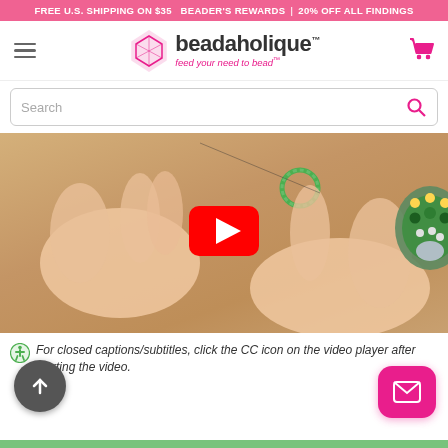FREE U.S. SHIPPING ON $35   BEADER'S REWARDS  |  20% OFF ALL FINDINGS
[Figure (logo): Beadaholique logo with gem icon and tagline 'feed your need to bead']
Search
[Figure (screenshot): Video thumbnail showing hands working with beaded jewelry piece, green and gold beads, with YouTube-style red play button overlay]
For closed captions/subtitles, click the CC icon on the video player after starting the video.